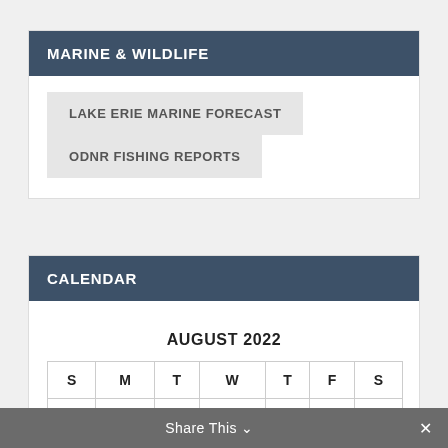MARINE & WILDLIFE
LAKE ERIE MARINE FORECAST
ODNR FISHING REPORTS
CALENDAR
AUGUST 2022
| S | M | T | W | T | F | S |
| --- | --- | --- | --- | --- | --- | --- |
| 1 | 2 | 3 | 4 | 5 | 6 | 7 |
Share This ∨  ✕